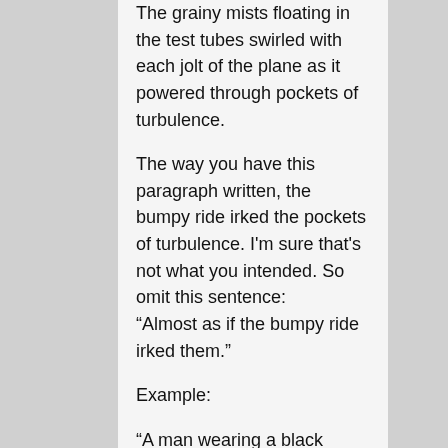The grainy mists floating in the test tubes swirled with each jolt of the plane as it powered through pockets of turbulence.
The way you have this paragraph written, the bumpy ride irked the pockets of turbulence. I'm sure that's not what you intended. So omit this sentence:
“Almost as if the bumpy ride irked them.”
Example:
“A man wearing a black uniform with the word SECURITY stenciled across the front scowled at him before growling two words.” Try this instead:
A man wearing a black uniform with the word “security” embroidered on the shirt pocket scowled. “Back off.”
There is no need to announce that the man is going to say two words. Just let him say the